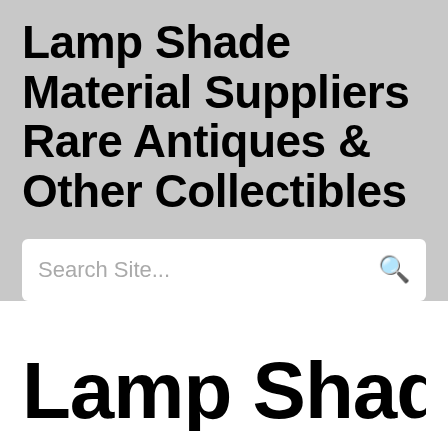Lamp Shade Material Suppliers Rare Antiques & Other Collectibles
Search Site...
Lamp Shade